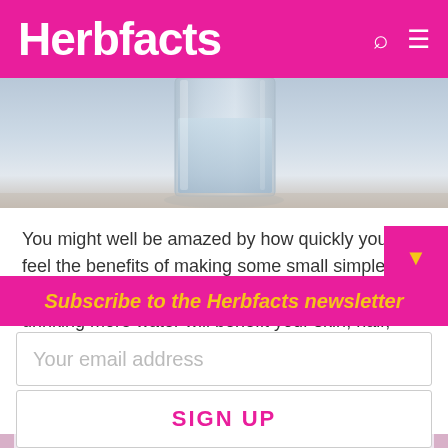Herbfacts
[Figure (photo): A glass of water sitting on a table, partially cropped at top]
You might well be amazed by how quickly you will feel the benefits of making some small simple changes to your daily routine. For example, just drinking more water will benefit your skin, hair, digestion, as well as energy levels and mental alertness enormously.
We need to aim to drink six to eight glasses of wa...
Subscribe to the Herbfacts newsletter
Your email address
SIGN UP